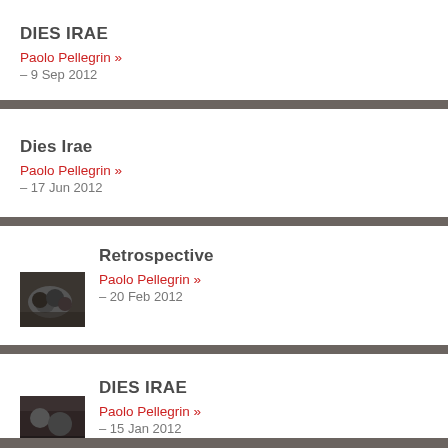DIES IRAE
Paolo Pellegrin »
– 9 Sep 2012
Dies Irae
Paolo Pellegrin »
– 17 Jun 2012
Retrospective
Paolo Pellegrin »
– 20 Feb 2012
DIES IRAE
Paolo Pellegrin »
– 15 Jan 2012